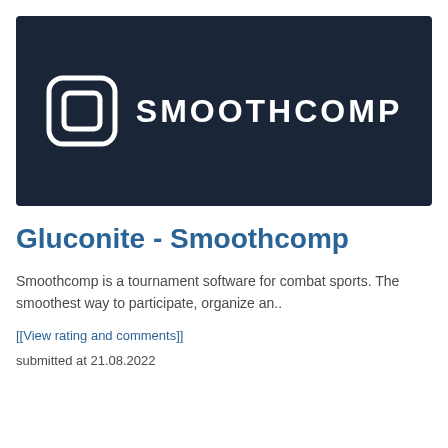[Figure (logo): Smoothcomp logo on dark navy background — square icon with rounded corners and inner square, followed by SMOOTHCOMP wordmark in white capital letters]
Gluconite - Smoothcomp
Smoothcomp is a tournament software for combat sports. The smoothest way to participate, organize an..
[[View rating and comments]]
submitted at 21.08.2022